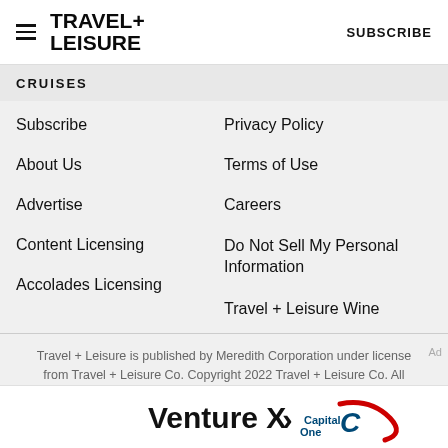TRAVEL+ LEISURE   SUBSCRIBE
CRUISES
Subscribe
Privacy Policy
About Us
Terms of Use
Advertise
Careers
Content Licensing
Do Not Sell My Personal Information
Accolades Licensing
Travel + Leisure Wine
Travel + Leisure is published by Meredith Corporation under license from Travel + Leisure Co. Copyright 2022 Travel + Leisure Co. All Rights Reserved. TRAVEL + LEISURE is a registered
[Figure (logo): Capital One Venture X advertisement banner with 'Venture X' text and Capital One logo with arrow]